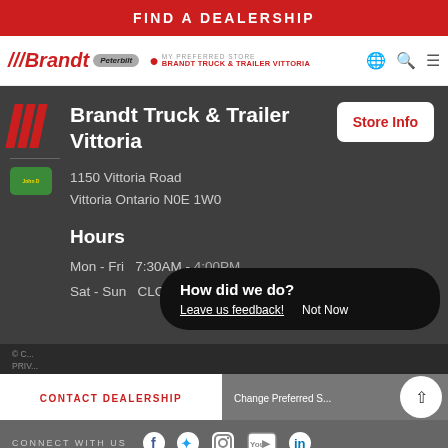FIND A DEALERSHIP
[Figure (logo): Brandt Peterbilt logo and navigation bar with store selector, globe, search, and menu icons]
Brandt Truck & Trailer Vittoria
1150 Vittoria Road
Vittoria Ontario N0E 1W0
Hours
Mon - Fri  7:30AM - 4:00PM
Sat - Sun  CLOSED
How did we do?
Leave us feedback!  Not Now
CONTACT DEALERSHIP   Change Preferred S...
CONNECT WITH US